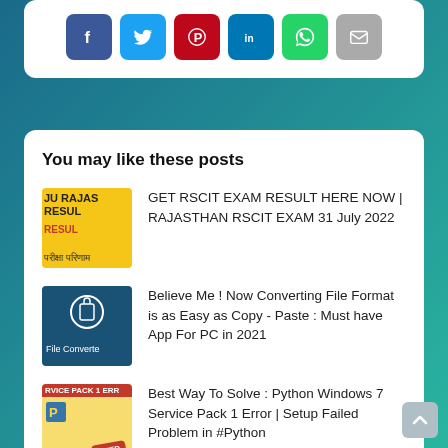[Figure (screenshot): Social media share buttons: Facebook, Twitter, Pinterest, LinkedIn, WhatsApp, Email]
You may like these posts
[Figure (photo): Thumbnail for RSCIT exam result post - yellow and blue background with Hindi text]
GET RSCIT EXAM RESULT HERE NOW | RAJASTHAN RSCIT EXAM 31 July 2022
[Figure (screenshot): Thumbnail for file converter app post - dark blue background with file converter icon]
Believe Me ! Now Converting File Format is as Easy as Copy - Paste : Must have App For PC in 2021
[Figure (screenshot): Thumbnail for Python Windows 7 Service Pack 1 Error post - red banner with FIXED stamp]
Best Way To Solve : Python Windows 7 Service Pack 1 Error | Setup Failed Problem in #Python